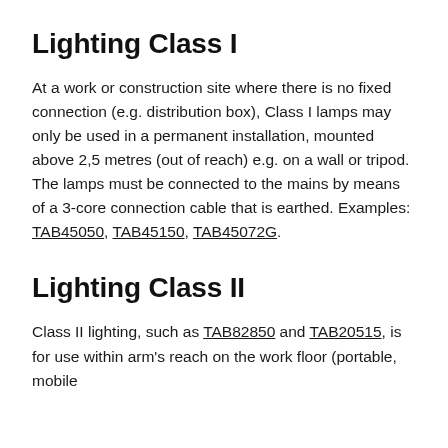Lighting Class I
At a work or construction site where there is no fixed connection (e.g. distribution box), Class I lamps may only be used in a permanent installation, mounted above 2,5 metres (out of reach) e.g. on a wall or tripod. The lamps must be connected to the mains by means of a 3-core connection cable that is earthed. Examples: TAB45050, TAB45150, TAB45072G.
Lighting Class II
Class II lighting, such as TAB82850 and TAB20515, is for use within arm's reach on the work floor (portable, mobile